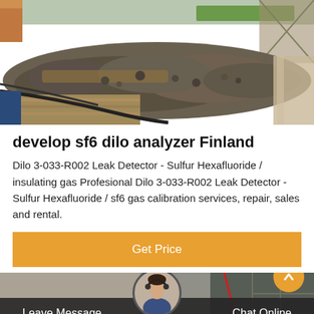[Figure (photo): Construction site photo showing rubble, gravel piles, cables, scaffolding and wooden materials at an outdoor site]
develop sf6 dilo analyzer Finland
Dilo 3-033-R002 Leak Detector - Sulfur Hexafluoride / insulating gas Profesional Dilo 3-033-R002 Leak Detector - Sulfur Hexafluoride / sf6 gas calibration services, repair, sales and rental.
Get Price
[Figure (photo): Partial photo of construction or industrial site, with customer service avatar and chat interface overlay at bottom]
Leave Message
Chat Online